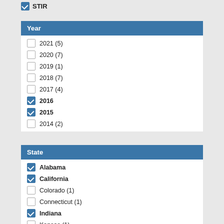☑ STIR
Year
☐ 2021 (5)
☐ 2020 (7)
☐ 2019 (1)
☐ 2018 (7)
☐ 2017 (4)
☑ 2016
☑ 2015
☐ 2014 (2)
State
☑ Alabama
☑ California
☐ Colorado (1)
☐ Connecticut (1)
☑ Indiana
☐ Kansas (1)
☑ Maryland (partial)